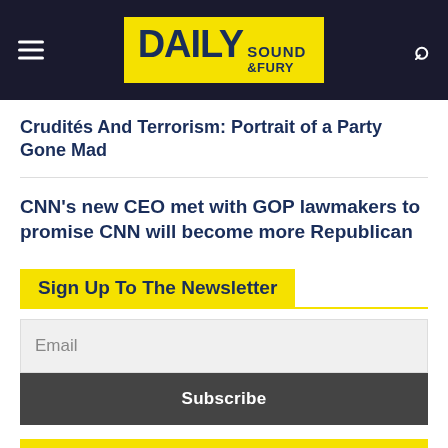DAILY SOUND & FURY
Crudités And Terrorism: Portrait of a Party Gone Mad
CNN's new CEO met with GOP lawmakers to promise CNN will become more Republican
Sign Up To The Newsletter
Email
Subscribe
Get Alerts When We Release Important Articles
Subscribe to notifications